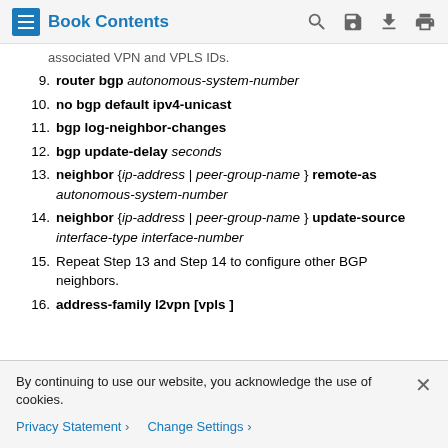Book Contents
associated VPN and VPLS IDs.
9. router bgp autonomous-system-number
10. no bgp default ipv4-unicast
11. bgp log-neighbor-changes
12. bgp update-delay seconds
13. neighbor {ip-address | peer-group-name } remote-as autonomous-system-number
14. neighbor {ip-address | peer-group-name } update-source interface-type interface-number
15. Repeat Step 13 and Step 14 to configure other BGP neighbors.
16. address-family l2vpn [vpls ]
By continuing to use our website, you acknowledge the use of cookies.
Privacy Statement  Change Settings